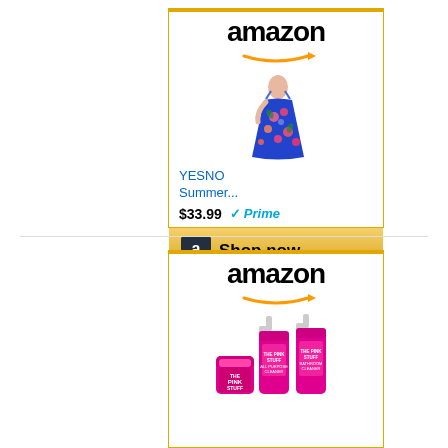[Figure (screenshot): Amazon ad card 1: YESNO Summer dress product listing with Amazon logo, product image (blue floral maxi dress), price $33.99 with Prime badge, and Shop now button]
[Figure (screenshot): Amazon ad card 2: The Pink Stuff cleaning products listing with Amazon logo and product image showing pink cleaning bottles and tub]